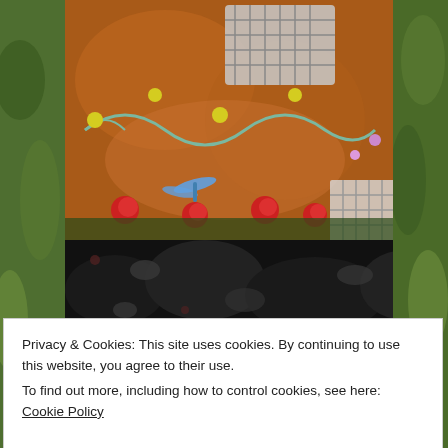[Figure (photo): Close-up photo of a decorated rock or gourd painted with floral designs, dragonfly, roses and lattice pattern on an orange/brown textured surface]
[Figure (photo): Dark textured photo showing black and grey foliage or similar dark organic material]
Privacy & Cookies: This site uses cookies. By continuing to use this website, you agree to their use.
To find out more, including how to control cookies, see here: Cookie Policy
[Figure (photo): Partially visible photo at the bottom showing green foliage]